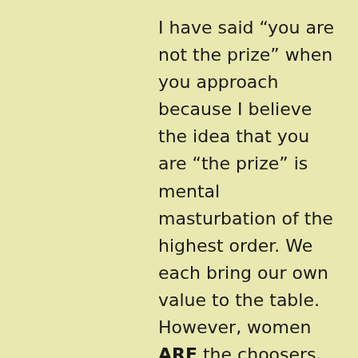I have said “you are not the prize” when you approach because I believe the idea that you are “the prize” is mental masturbation of the highest order. We each bring our own value to the table. However, women ARE the choosers, like it or not. That does not mean that I think of us men as a lower order species, that ´s just dealing with the reality of cold / warm approach.